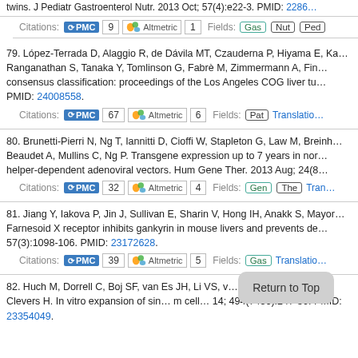twins. J Pediatr Gastroenterol Nutr. 2013 Oct; 57(4):e22-3. PMID: 22864...
Citations: PMC 9 | Altmetric 1 | Fields: Gas Nut Ped
79. López-Terrada D, Alaggio R, de Dávila MT, Czauderna P, Hiyama E, Ka... Ranganathan S, Tanaka Y, Tomlinson G, Fabrè M, Zimmermann A, Fin... consensus classification: proceedings of the Los Angeles COG liver tu... PMID: 24008558.
Citations: PMC 67 | Altmetric 6 | Fields: Pat | Translation
80. Brunetti-Pierri N, Ng T, Iannitti D, Cioffi W, Stapleton G, Law M, Breinh... Beaudet A, Mullins C, Ng P. Transgene expression up to 7 years in nor... helper-dependent adenoviral vectors. Hum Gene Ther. 2013 Aug; 24(8...
Citations: PMC 32 | Altmetric 4 | Fields: Gen The | Tran
81. Jiang Y, Iakova P, Jin J, Sullivan E, Sharin V, Hong IH, Anakk S, Mayor... Farnesoid X receptor inhibits gankyrin in mouse livers and prevents de... 57(3):1098-106. PMID: 23172628.
Citations: PMC 39 | Altmetric 5 | Fields: Gas | Translation
82. Huch M, Dorrell C, Boj SF, van Es JH, Li VS, v... Sato... Grompe M, Clevers H. In vitro expansion of sin... m cell... 14; 494(7436):247-50. PMID: 23354049.
Citations: PMC ... | Altmetric ... | Fields: ...